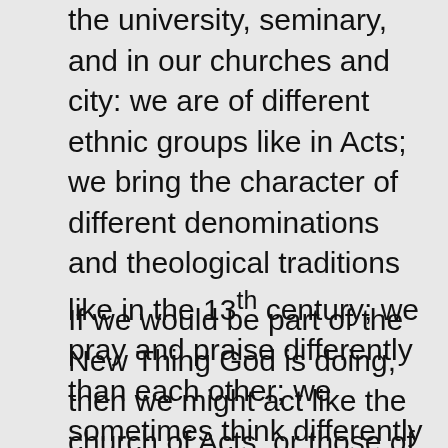the university, seminary, and in our churches and city: we are of different ethnic groups like in Acts; we bring the character of different denominations and theological traditions like in the 13th century; we pray and praise differently than each other; we sometimes think differently and weigh ideas and evidence differently, and we have different goals, and different missional needs in mind. This is not new.
If we would be part of the New Thing God is doing, then we might act like the church of Acts, or those of Dante's imagined Heaven. We will need to recognize the identities gifts of others as given to them in and for Christ's kingdom and the world. We will need to recognize the limitations of our gifts and identities, and that we need the gifts and insight of others. We will offer our gifts to others so that they can more fully